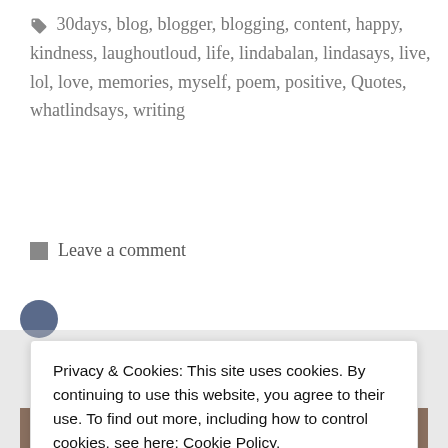🏷 30days, blog, blogger, blogging, content, happy, kindness, laughoutloud, life, lindabalan, lindasays, live, lol, love, memories, myself, poem, positive, Quotes, whatlindsays, writing
💬 Leave a comment
Privacy & Cookies: This site uses cookies. By continuing to use this website, you agree to their use. To find out more, including how to control cookies, see here: Cookie Policy
Close and accept